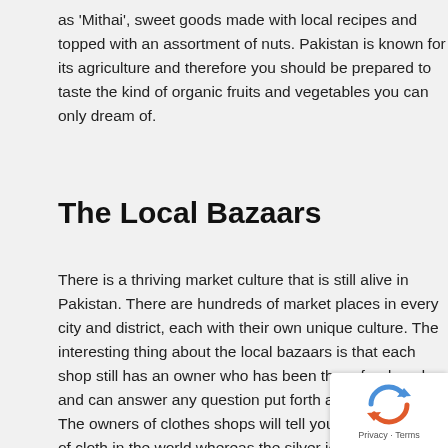as 'Mithai', sweet goods made with local recipes and topped with an assortment of nuts. Pakistan is known for its agriculture and therefore you should be prepared to taste the kind of organic fruits and vegetables you can only dream of.
The Local Bazaars
There is a thriving market culture that is still alive in Pakistan. There are hundreds of market places in every city and district, each with their own unique culture. The interesting thing about the local bazaars is that each shop still has an owner who has been there for decades and can answer any question put forth about his trade. The owners of clothes shops will tell you about any type of cloth in the world whereas the silver jeweler will tell you about any kind of silver present anywhere in the world. This relationship that the vendors have with customers so precious in today's modern age of impersonal